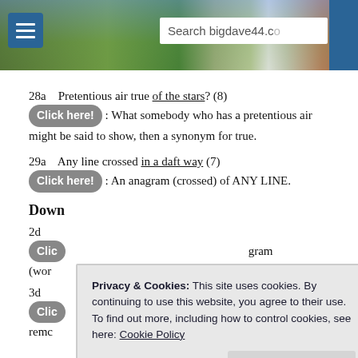bigdave44.com header with search bar
28a  Pretentious air true of the stars? (8)
Click here!: What somebody who has a pretentious air might be said to show, then a synonym for true.
29a  Any line crossed in a daft way (7)
Click here!: An anagram (crossed) of ANY LINE.
Down
2d
Clic ... gram (wor...
3d
Clic ... ean) remc...
[Figure (screenshot): Cookie consent modal: Privacy & Cookies notice with Close and accept button and Cookie Policy link]
4d  Corporate excesses? (5,5)
Click here! ...